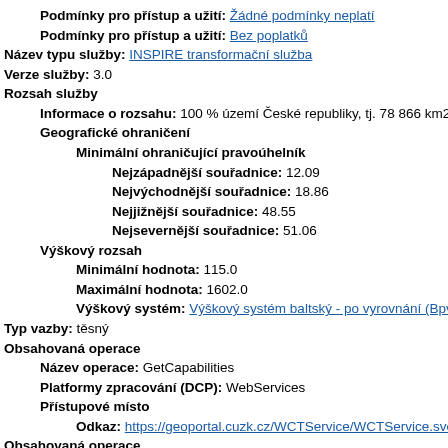Podmínky pro přístup a užití: Žádné podmínky neplatí
Podmínky pro přístup a užití: Bez poplatků
Název typu služby: INSPIRE transformační služba
Verze služby: 3.0
Rozsah služby
Informace o rozsahu: 100 % území České republiky, tj. 78 866 km2.
Geografické ohraničení
Minimální ohraničující pravoúhelník
Nejzápadnější souřadnice: 12.09
Nejvýchodnější souřadnice: 18.86
Nejjižnější souřadnice: 48.55
Nejsevernější souřadnice: 51.06
Výškový rozsah
Minimální hodnota: 115.0
Maximální hodnota: 1602.0
Výškový systém: Výškový systém baltský - po vyrovnání (Bpv)
Typ vazby: těsný
Obsahovaná operace
Název operace: GetCapabilities
Platformy zpracování (DCP): WebServices
Přístupové místo
Odkaz: https://geoportal.cuzk.cz/WCTService/WCTService.svc/ge
Obsahovaná operace
Název operace: Transform
Platformy zpracování (DCP): WebServices